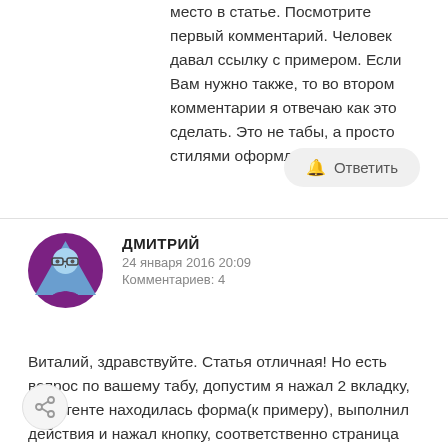место в статье. Посмотрите первый комментарий. Человек давал ссылку с примером. Если Вам нужно также, то во втором комментарии я отвечаю как это сделать. Это не табы, а просто стилями оформлено.
Ответить
ДМИТРИЙ
24 января 2016 20:09
Комментариев: 4
Виталий, здравствуйте. Статья отличная! Но есть вопрос по вашему табу, допустим я нажал 2 вкладку, в контенте находилась форма(к примеру), выполнил действия и нажал кнопку, соответственно страница обновилась и моя вкладка сбросилась на стартовую (т.е. 1 вкладку)... как мне сохранять активность вкладки после обновления страницы. Хотелось бы это использовать во всех вкладках